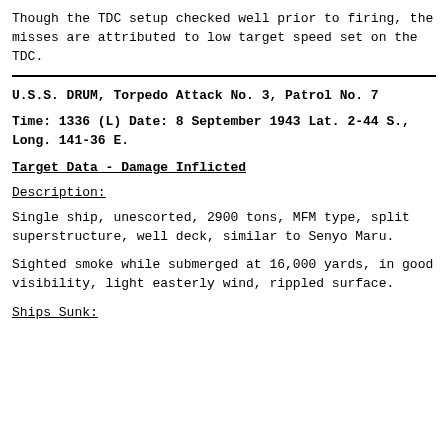Though the TDC setup checked well prior to firing, the misses are attributed to low target speed set on the TDC.
U.S.S. DRUM, Torpedo Attack No. 3, Patrol No. 7
Time: 1336 (L) Date: 8 September 1943 Lat. 2-44 S., Long. 141-36 E.
Target Data - Damage Inflicted
Description:
Single ship, unescorted, 2900 tons, MFM type, split superstructure, well deck, similar to Senyo Maru.
Sighted smoke while submerged at 16,000 yards, in good visibility, light easterly wind, rippled surface.
Ships Sunk: